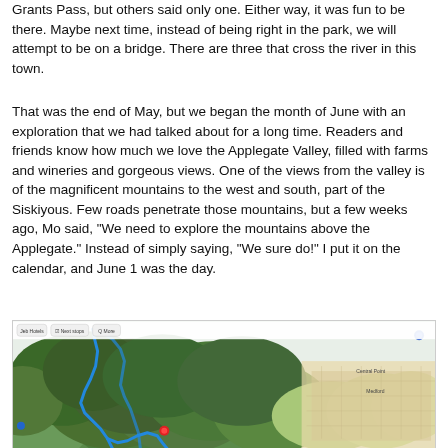Grants Pass, but others said only one. Either way, it was fun to be there. Maybe next time, instead of being right in the park, we will attempt to be on a bridge. There are three that cross the river in this town.
That was the end of May, but we began the month of June with an exploration that we had talked about for a long time. Readers and friends know how much we love the Applegate Valley, filled with farms and wineries and gorgeous views. One of the views from the valley is of the magnificent mountains to the west and south, part of the Siskiyous. Few roads penetrate those mountains, but a few weeks ago, Mo said, "We need to explore the mountains above the Applegate." Instead of simply saying, "We sure do!" I put it on the calendar, and June 1 was the day.
[Figure (map): A map showing the Applegate Valley area and surrounding mountains in southern Oregon, with a blue route traced through mountainous terrain on the left side and the Medford/Central Point urban area visible on the right side. A red marker is visible near the center-bottom of the map.]